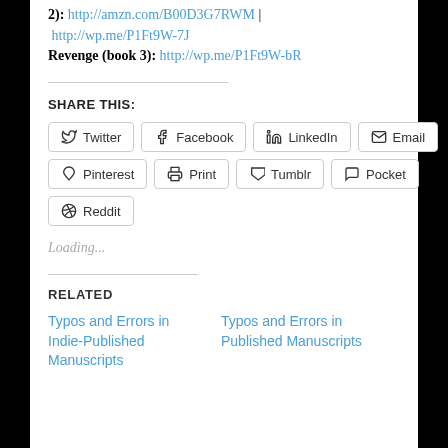2): http://amzn.com/B00D3G7RWM | http://wp.me/P1Ft9W-7J
Revenge (book 3): http://wp.me/P1Ft9W-bR
SHARE THIS:
Twitter | Facebook | LinkedIn | Email | Pinterest | Print | Tumblr | Pocket | Reddit
Loading...
RELATED
Typos and Errors in Indie-Published Manuscripts
Typos and Errors in Published Manuscripts